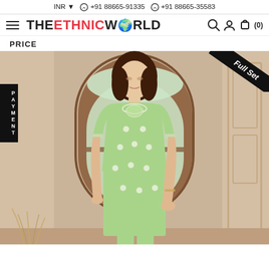INR ▼ ⊙ +91 88665-91335 ⊙ +91 88665-35583
[Figure (logo): THE ETHNIC WORLD logo with hamburger menu and cart icons]
PRICE
[Figure (photo): Woman model wearing light green embroidered kurti/salwar suit set, standing in front of an arched window in a warm-toned room. Full Set badge on top right corner. PAYMENT tab on left side.]